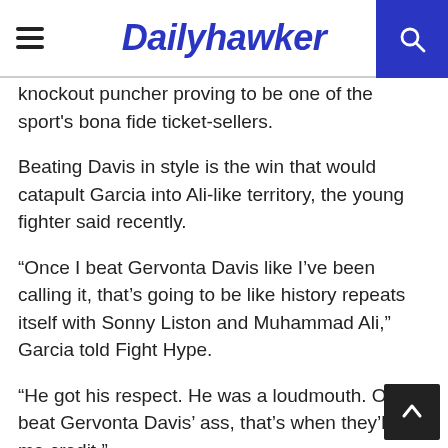Dailyhawker
knockout puncher proving to be one of the sport's bona fide ticket-sellers.
Beating Davis in style is the win that would catapult Garcia into Ali-like territory, the young fighter said recently.
“Once I beat Gervonta Davis like I’ve been calling it, that’s going to be like history repeats itself with Sonny Liston and Muhammad Ali,” Garcia told Fight Hype.
“He got his respect. He was a loudmouth. Once I beat Gervonta Davis’ ass, that’s when they’ll give me credit.”
Garcia and Davis are regarded as two rising stars who have the potential, as well as the representation, to potentially dominate the sport in the coming decade. And